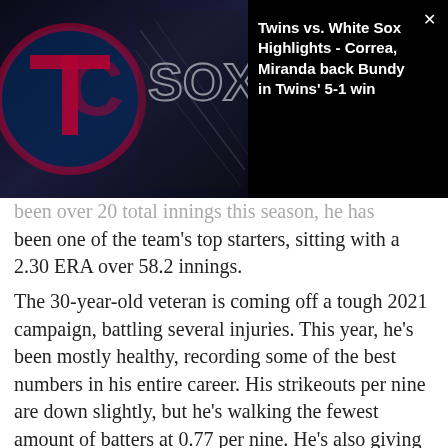[Figure (screenshot): Video overlay thumbnail showing Minnesota Twins vs Chicago White Sox logos on dark background with video title text: 'Twins vs. White Sox Highlights - Correa, Miranda back Bundy in Twins' 5-1 win']
been one of the team's top starters, sitting with a 2.30 ERA over 58.2 innings.
The 30-year-old veteran is coming off a tough 2021 campaign, battling several injuries. This year, he's been mostly healthy, recording some of the best numbers in his entire career. His strikeouts per nine are down slightly, but he's walking the fewest amount of batters at 0.77 per nine. He's also giving up the fewest amount of home runs in his career at